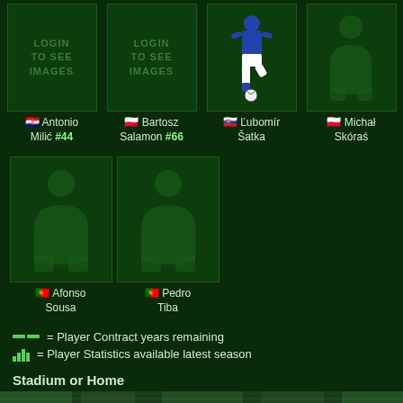[Figure (illustration): Player card grid: Antonio Milić #44 (Croatia), Bartosz Salamon #66 (Poland) - both with login-to-see-images placeholders; Ľubomír Šatka (Slovakia) with footballer image; Michał Skóraś (Poland) with silhouette placeholder]
Antonio Milić #44
Bartosz Salamon #66
Ľubomír Šatka
Michał Skóraś
[Figure (illustration): Second row player cards: Afonso Sousa (Portugal) and Pedro Tiba (Portugal) - both with silhouette placeholders]
Afonso Sousa
Pedro Tiba
— = Player Contract years remaining
📊 = Player Statistics available latest season
Stadium or Home
[Figure (photo): Stadium or home ground image strip at the bottom]